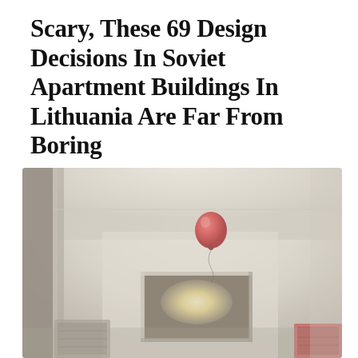Scary, These 69 Design Decisions In Soviet Apartment Buildings In Lithuania Are Far From Boring
[Figure (photo): Interior photo of a Soviet-era apartment hallway/room with pale greenish-beige walls and ceiling. A red balloon floats near the ceiling on the right-center of the image. On the left side there is a dark doorframe. Centered on the back wall is a framed mirror or window with a lit interior. Bottom corners show various objects including what appears to be a red item on the right and a heater or bookshelf on the left.]